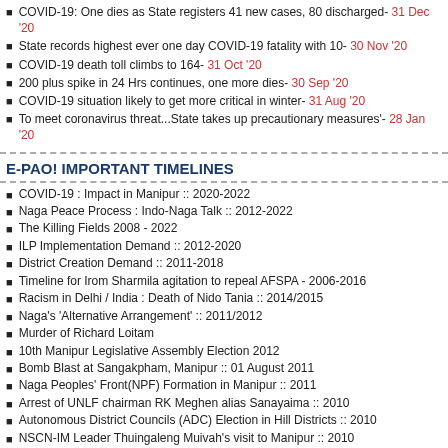COVID-19: One dies as State registers 41 new cases, 80 discharged- 31 Dec '20
State records highest ever one day COVID-19 fatality with 10- 30 Nov '20
COVID-19 death toll climbs to 164- 31 Oct '20
200 plus spike in 24 Hrs continues, one more dies- 30 Sep '20
COVID-19 situation likely to get more critical in winter- 31 Aug '20
To meet coronavirus threat...State takes up precautionary measures'- 28 Jan '20
E-PAO! IMPORTANT TIMELINES
COVID-19 : Impact in Manipur :: 2020-2022
Naga Peace Process : Indo-Naga Talk :: 2012-2022
The Killing Fields 2008 - 2022
ILP Implementation Demand :: 2012-2020
District Creation Demand :: 2011-2018
Timeline for Irom Sharmila agitation to repeal AFSPA - 2006-2016
Racism in Delhi / India : Death of Nido Tania :: 2014/2015
Naga's 'Alternative Arrangement' :: 2011/2012
Murder of Richard Loitam
10th Manipur Legislative Assembly Election 2012
Bomb Blast at Sangakpham, Manipur :: 01 August 2011
Naga Peoples' Front(NPF) Formation in Manipur :: 2011
Arrest of UNLF chairman RK Meghen alias Sanayaima :: 2010
Autonomous District Councils (ADC) Election in Hill Districts :: 2010
NSCN-IM Leader Thuingaleng Muivah's visit to Manipur :: 2010
BT Road Shoot-Out - July 23 2009
Killing of Dr Thingnam Kishan - 2009
Siroy Stand off between AR and NSCN(IM) - 2009
Manipur University's Reservation issue - 2008
Doping Charge against Laishram Monika - 2008